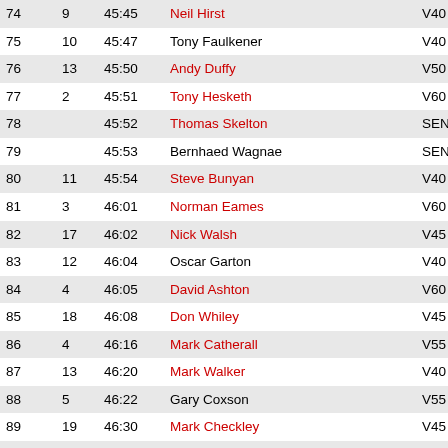| Pos | Cat | Time | Name | Age | G |
| --- | --- | --- | --- | --- | --- |
| 74 | 9 | 45:45 | Neil Hirst | V40 | M |
| 75 | 10 | 45:47 | Tony Faulkener | V40 | M |
| 76 | 13 | 45:50 | Andy Duffy | V50 | M |
| 77 | 2 | 45:51 | Tony Hesketh | V60 | M |
| 78 |  | 45:52 | Thomas Skelton | SEN | M |
| 79 |  | 45:53 | Bernhaed Wagnae | SEN | M |
| 80 | 11 | 45:54 | Steve Bunyan | V40 | M |
| 81 | 3 | 46:01 | Norman Eames | V60 | M |
| 82 | 17 | 46:02 | Nick Walsh | V45 | M |
| 83 | 12 | 46:04 | Oscar Garton | V40 | M |
| 84 | 4 | 46:05 | David Ashton | V60 | M |
| 85 | 18 | 46:08 | Don Whiley | V45 | M |
| 86 | 4 | 46:16 | Mark Catherall | V55 | M |
| 87 | 13 | 46:20 | Mark Walker | V40 | M |
| 88 | 5 | 46:22 | Gary Coxson | V55 | M |
| 89 | 19 | 46:30 | Mark Checkley | V45 | M |
| 90 | 14 | 46:31 | Stephen Leak | V50 | M |
| 91 | 6 | 46:32 | Paul Christie | V55 | M |
| 92 | 20 | 46:34 | John Mayall | V45 | M |
| 93 | 21 | 46:36 | Andrew Howarth | V45 | M |
| 94 | 15 | 47:01 | Colin Wood | V50 | M |
| 95 | 22 | 47:11 | Steve Riddle | V45 | M |
| 96 | 5 | 47:20 | Tony Hillier | V60 | M |